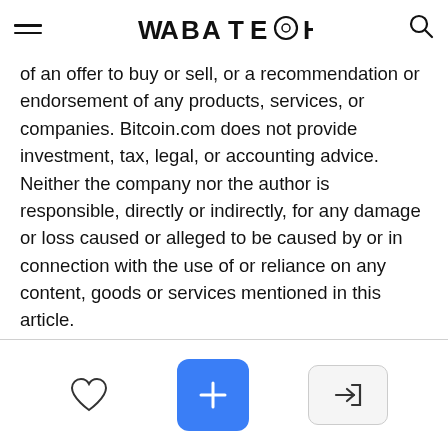WABA TECH
of an offer to buy or sell, or a recommendation or endorsement of any products, services, or companies. Bitcoin.com does not provide investment, tax, legal, or accounting advice. Neither the company nor the author is responsible, directly or indirectly, for any damage or loss caused or alleged to be caused by or in connection with the use of or reliance on any content, goods or services mentioned in this article.
More Popular News